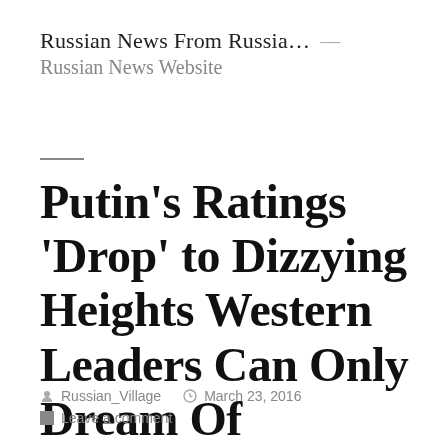Russian News From Russia… — Russian News Website
Putin's Ratings 'Drop' to Dizzying Heights Western Leaders Can Only Dream Of
Russian_Village   March 23, 2016
Leave a comment